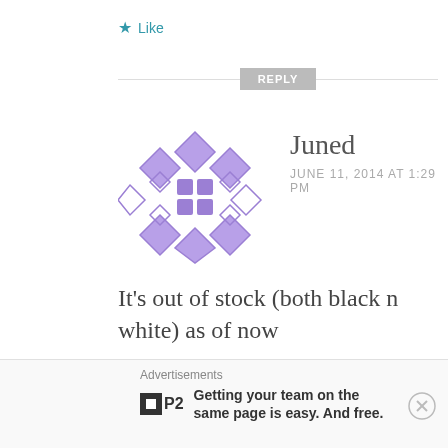Like
REPLY
[Figure (illustration): Purple geometric/diamond pattern avatar icon for user Juned]
Juned
JUNE 11, 2014 AT 1:29 PM
It's out of stock (both black n white) as of now
Like
REPLY
Advertisements
Getting your team on the same page is easy. And free.